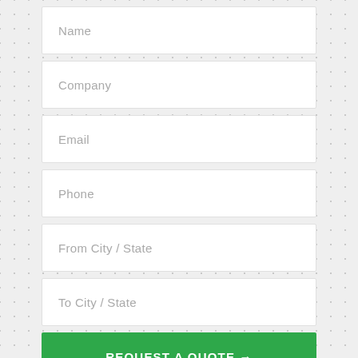Name
Company
Email
Phone
From City / State
To City / State
REQUEST A QUOTE →